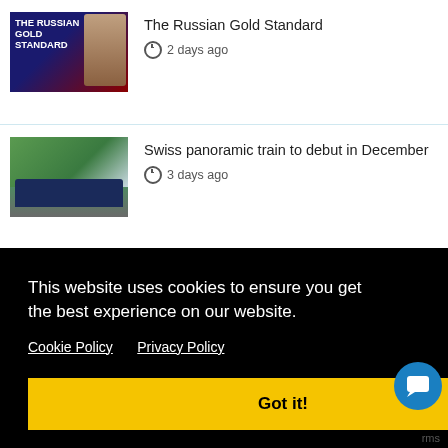[Figure (photo): Thumbnail for 'The Russian Gold Standard' — dark background with bold white text 'THE RUSSIAN GOLD STANDARD' and a person in a suit]
The Russian Gold Standard
2 days ago
[Figure (photo): Thumbnail for 'Swiss panoramic train' — green valley with mountains and a blue panoramic train]
Swiss panoramic train to debut in December
3 days ago
[Figure (photo): Thumbnail for 'The Week Ahead: Dollar Bulls Still in Charge' — abstract grayscale figure]
The Week Ahead: Dollar Bulls Still in Charge
3 days ago
This website uses cookies to ensure you get the best experience on our website.
Cookie Policy   Privacy Policy
Got it!
policy under new constraints: challenges for